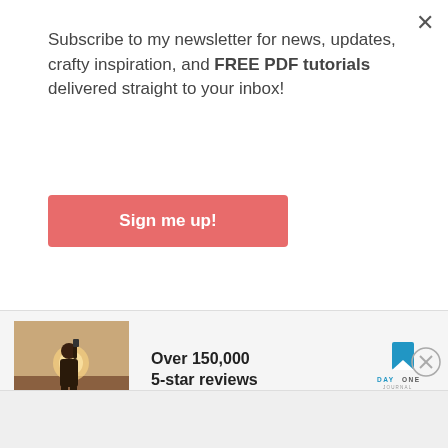Subscribe to my newsletter for news, updates, crafty inspiration, and FREE PDF tutorials delivered straight to your inbox!
Sign me up!
[Figure (photo): Advertisement banner: person photographing sunset, Day One Journal app ad, 'Over 150,000 5-star reviews']
I absolutely love how these colors play together! They are so bright and cheerful! I wasn't sure about putting them all together at first, but the Melon Mambo as the focal point on top really lets the Daffodil Delight, Bermuda Bay, and Granny
Advertisements